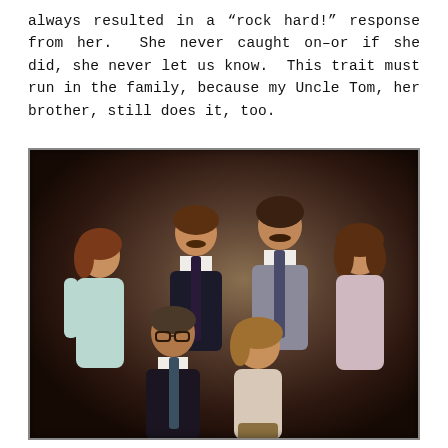always resulted in a “rock hard!” response from her. She never caught on–or if she did, she never let us know. This trait must run in the family, because my Uncle Tom, her brother, still does it, too.
[Figure (photo): Vintage 1970s formal family portrait showing six people against a brown studio background. Back row: three men and a woman standing. Front: an older man with glasses and a woman seated in the center.]